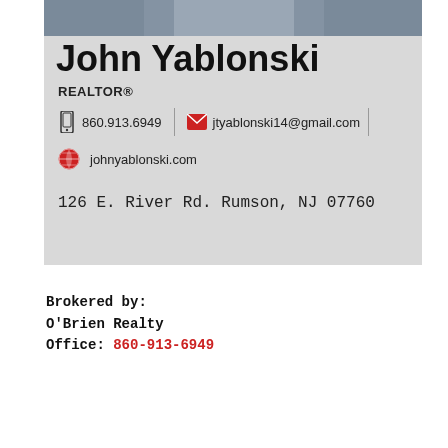[Figure (photo): Top portion of a man in a dark suit and blue shirt, photo cropped at shoulders]
John Yablonski
REALTOR®
860.913.6949  jtyablonski14@gmail.com
johnyablonski.com
126 E. River Rd. Rumson, NJ 07760
Brokered by:
O'Brien Realty
Office: 860-913-6949